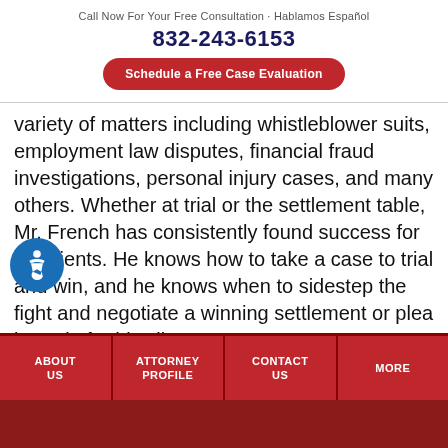Call Now For Your Free Consultation · Hablamos Español
832-243-6153
Schedule a Free Case Evaluation
variety of matters including whistleblower suits, employment law disputes, financial fraud investigations, personal injury cases, and many others. Whether at trial or the settlement table, Mr. French has consistently found success for his clients. He knows how to take a case to trial and win, and he knows when to sidestep the fight and negotiate a winning settlement or plea bargain for his clients.
orney Keith B. French, more than anything else, loves helping people. Keith B. French Law brings that
ABOUT US | ATTORNEY PROFILE | CONTACT US | MORE